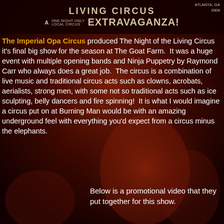[Figure (photo): Dark red/crimson circus-themed background with theatrical figures and performers in a vintage style]
LIVING CIRCUS  ATLANTA, GA  A ONE NIGHT ONLY LOCAL CIRCUS EXTRAVAGANZA!
The Imperial Opa Circus produced The Night of the Living Circus it's final big show for the season at The Goat Farm.  It was a huge event with multiple opening bands and Ninja Puppetry by Raymond Carr who always does a great job.  The circus is a combination of live music and traditional circus acts such as clowns, acrobats, aerialists, strong men, with some not so traditional acts such as ice sculpting, belly dancers and fire spinning!  It is what I would imagine a circus put on at Burning Man would be with an amazing underground feel with everything you'd expect from a circus minus the elephants.
Below is a promotional video that they put together for this show.